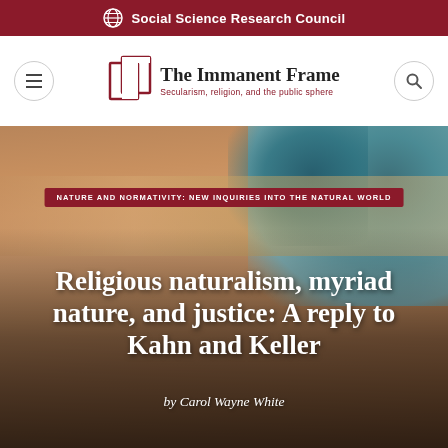Social Science Research Council
[Figure (logo): The Immanent Frame logo — stylized overlapping book/frame icon in red outline, with text 'The Immanent Frame' and subtitle 'Secularism, religion, and the public sphere']
[Figure (photo): Abstract textured background with sandy brown tones on the left and teal/blue tones on the upper right, resembling a close-up of natural material or aerial landscape]
NATURE AND NORMATIVITY: NEW INQUIRIES INTO THE NATURAL WORLD
Religious naturalism, myriad nature, and justice: A reply to Kahn and Keller
by Carol Wayne White